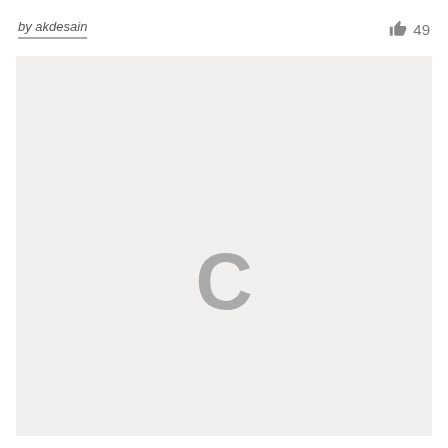by akdesain  👍 49
[Figure (screenshot): A light gray loading placeholder box with a gray spinner 'C' letter shape centered, indicating content is loading. Background is off-white/light gray.]